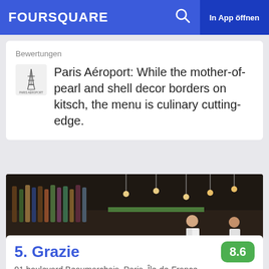FOURSQUARE  In App öffnen
Bewertungen
Paris Aéroport: While the mother-of-pearl and shell decor borders on kitsch, the menu is culinary cutting-edge.
[Figure (photo): Interior of a bar/restaurant showing a long bar counter with bottles, glasses, hanging Edison bulb lights, and two people (a bartender in white and a patron) seated at the bar.]
5. Grazie
8.6
91 boulevard Beaumarchais, Paris, Île-de-France